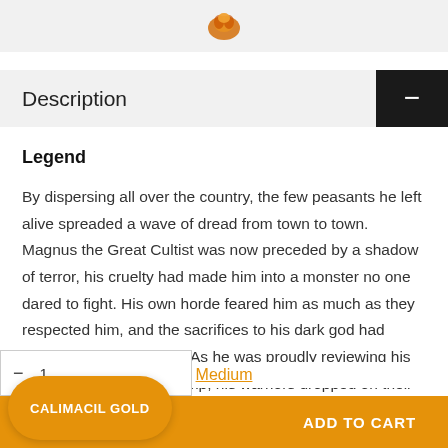Description
Legend
By dispersing all over the country, the few peasants he left alive spreaded a wave of dread from town to town. Magnus the Great Cultist was now preceded by a shadow of terror, his cruelty had made him into a monster no one dared to fight. His own horde feared him as much as they respected him, and the sacrifices to his dark god had never been so plentyful. As he was proudly reviewing his troups inside the war camp, his warriors dropped on their knees at the
Medium
CALIMACIL GOLD
ADD TO CART